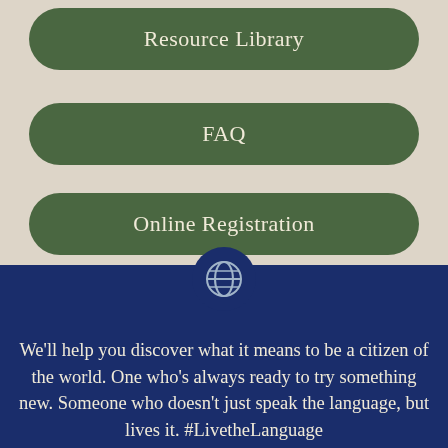Resource Library
FAQ
Online Registration
Contact Us
[Figure (illustration): Globe icon in a dark navy blue circle]
We'll help you discover what it means to be a citizen of the world. One who's always ready to try something new. Someone who doesn't just speak the language, but lives it. #LivetheLanguage